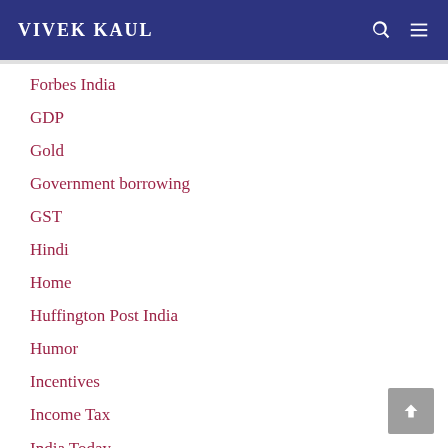VIVEK KAUL
Forbes India
GDP
Gold
Government borrowing
GST
Hindi
Home
Huffington Post India
Humor
Incentives
Income Tax
India Today